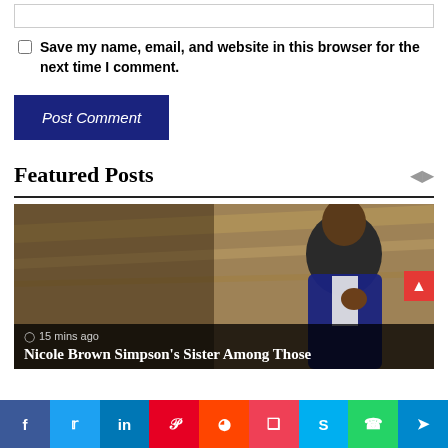[input box]
Save my name, email, and website in this browser for the next time I comment.
Post Comment
Featured Posts
[Figure (photo): A man in a dark blue velvet suit with his hand raised to his mouth, appearing shocked or thoughtful, at what appears to be a formal event. The background shows golden/tan architectural details.]
15 mins ago
Nicole Brown Simpson's Sister Among Those
f  tw  in  p  r  pocket  s  whatsapp  telegram